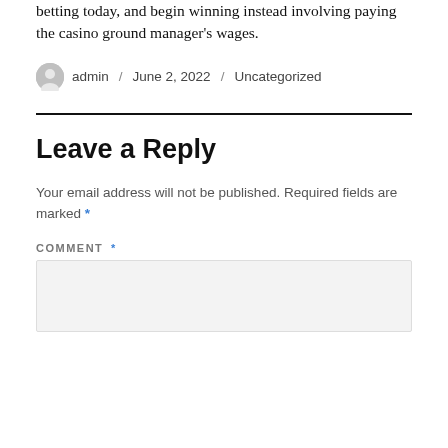betting today, and begin winning instead involving paying the casino ground manager's wages.
admin / June 2, 2022 / Uncategorized
Leave a Reply
Your email address will not be published. Required fields are marked *
COMMENT *